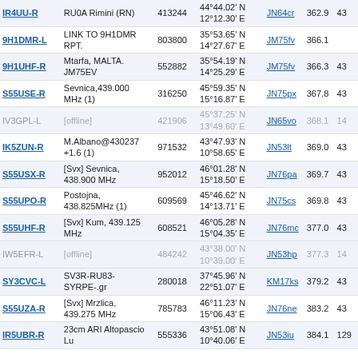| Callsign | Description | ID | Coordinates | Grid | Dist | Last |
| --- | --- | --- | --- | --- | --- | --- |
| IR4UU-R | RU0A Rimini (RN) | 413244 | 44°44.02' N 12°12.30' E | JN64cr | 362.9 | 43 |
| 9H1DMR-L | LINK TO 9H1DMR RPT. | 803800 | 35°53.65' N 14°27.67' E | JM75fv | 366.1 |  |
| 9H1UHF-R | Mtarfa, MALTA. JM75EV | 552882 | 35°54.19' N 14°25.29' E | JM75fv | 366.3 | 43 |
| S55USE-R | Sevnica,439.000 MHz (1) | 316250 | 45°59.35' N 15°16.87' E | JN75px | 367.8 | 43 |
| IV3GPL-L | [offline] | 421906 | 45°37.25' N 13°49.60' E | JN65vo | 368.1 | 14 |
| IK5ZUN-R | M.Albano@430237+1.6 (1) | 971532 | 43°47.93' N 10°58.65' E | JN53lt | 369.0 | 43 |
| S55USX-R | [Svx] Sevnica, 438.900 MHz | 952012 | 46°01.28' N 15°18.50' E | JN76pa | 369.7 | 43 |
| S55UPO-R | Postojna, 438.825MHz (1) | 609569 | 45°46.62' N 14°13.71' E | JN75cs | 369.8 | 43 |
| S55UHF-R | [Svx] Kum, 439.125 MHz | 608521 | 46°05.28' N 15°04.35' E | JN76mc | 377.0 | 43 |
| IW5EFR-L | [offline] | 484242 | 43°38.00' N 10°39.00' E | JN53hp | 377.3 | 14 |
| SY3CVC-L | SV3R-RU83-SYRPE-.gr | 280018 | 37°45.96' N 22°51.07' E | KM17ks | 379.2 | 43 |
| S55UZA-R | [Svx] Mrzlica, 439.275 MHz | 785783 | 46°11.23' N 15°06.43' E | JN76ne | 383.2 | 43 |
| IR5UBR-R | 23cm ARI Altopascio Lu | 555336 | 43°51.08' N 10°40.06' E | JN53iu | 384.1 | 129 |